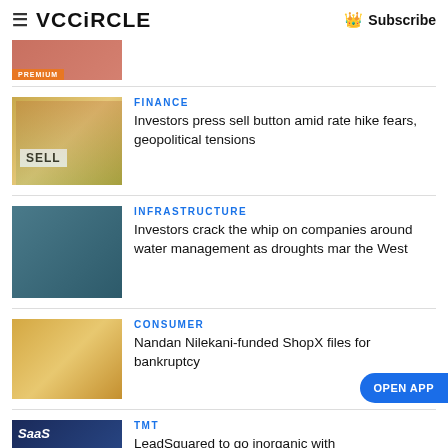VCCiRCLE — Subscribe
[Figure (photo): Partial thumbnail with PREMIUM badge at top]
[Figure (photo): Image with SELL sign, finance related]
FINANCE
Investors press sell button amid rate hike fears, geopolitical tensions
[Figure (photo): Infrastructure image showing water management equipment]
INFRASTRUCTURE
Investors crack the whip on companies around water management as droughts mar the West
[Figure (photo): Image of coins/money stacking, consumer related]
CONSUMER
Nandan Nilekani-funded ShopX files for bankruptcy
[Figure (photo): SaaS technology image with PREMIUM badge]
TMT
LeadSquared to go inorganic with